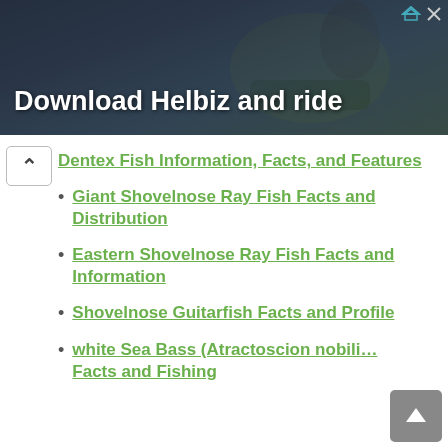[Figure (screenshot): Advertisement banner showing 'Download Helbiz and ride' with a dark background photo of a person on a scooter]
Dentex Fish Information, Facts, and Features
Giant Shovelnose Ray Fish Facts and Distribution
Eastern Shovelnose Ray Fish Facts and Information
Shovelnose Guitarfish Facts and Profile
white Sea Bass (Atractoscion nobilis) Facts and Fishing